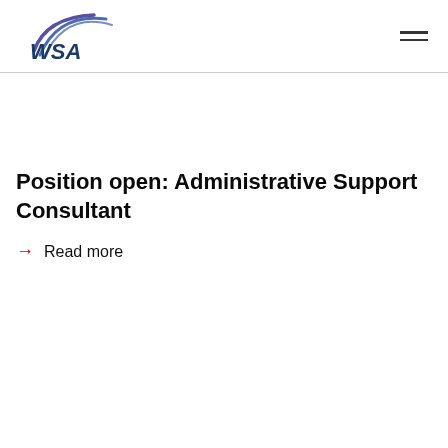[Figure (logo): WSA logo with swoosh graphic in blue/purple and dark blue text]
Position open: Administrative Support Consultant
→ Read more